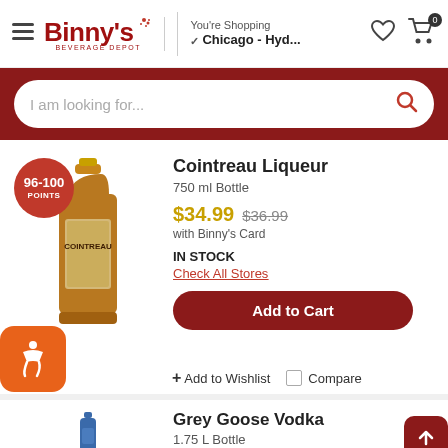Binny's Beverage Depot — You're Shopping — Chicago - Hyd...
I am looking for...
Cointreau Liqueur
750 ml Bottle
$34.99 $36.99 with Binny's Card
IN STOCK
Check All Stores
Add to Cart
+ Add to Wishlist
Compare
[Figure (photo): Cointreau Liqueur bottle, amber glass, 750ml]
Grey Goose Vodka
1.75 L Bottle